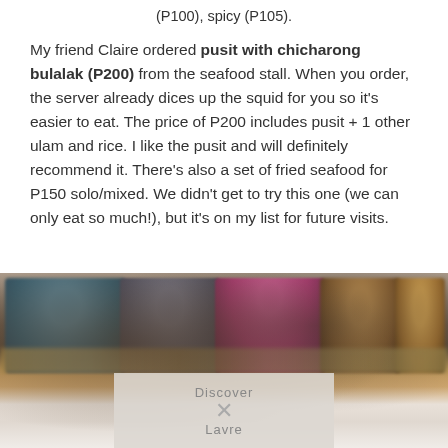(P100), spicy (P105).
My friend Claire ordered pusit with chicharong bulalak (P200) from the seafood stall. When you order, the server already dices up the squid for you so it's easier to eat. The price of P200 includes pusit + 1 other ulam and rice. I like the pusit and will definitely recommend it. There's also a set of fried seafood for P150 solo/mixed. We didn't get to try this one (we can only eat so much!), but it's on my list for future visits.
[Figure (photo): Blurred photo of people sitting and dining at a restaurant or food stall, with food items in the foreground. A watermark overlay with an X appears at the bottom center.]